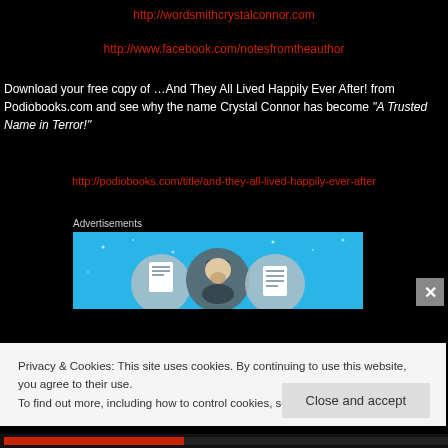specialist because its so much more intentional than being a more drama queen...
http://wordsmithcrystalconnor.com
http://www.facebook.com/notesfromtheauthor
Download your free copy of …And They All Lived Happily Ever After! from Podiobooks.com and see why the name Crystal Connor has become “A Trusted Name in Terror!”
http://podiobooks.com/title/and-they-all-lived-happily-ever-after
Advertisements
[Figure (illustration): Advertisement banner with blue background showing three circular icons with illustrated characters and document symbols]
Privacy & Cookies: This site uses cookies. By continuing to use this website, you agree to their use.
To find out more, including how to control cookies, see here: Cookie Policy
Close and accept